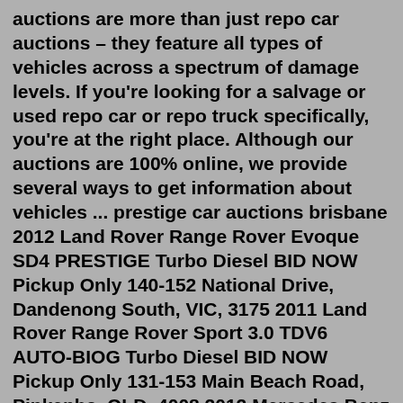auctions are more than just repo car auctions – they feature all types of vehicles across a spectrum of damage levels. If you're looking for a salvage or used repo car or repo truck specifically, you're at the right place. Although our auctions are 100% online, we provide several ways to get information about vehicles ... prestige car auctions brisbane 2012 Land Rover Range Rover Evoque SD4 PRESTIGE Turbo Diesel BID NOW Pickup Only 140-152 National Drive, Dandenong South, VIC, 3175 2011 Land Rover Range Rover Sport 3.0 TDV6 AUTO-BIOG Turbo Diesel BID NOW Pickup Only 131-153 Main Beach Road, Pinkenba, QLD, 4008 2012 Mercedes Benz B-CLASS B180 BE W246 HatchbackTrucks & Heavy Machinery Auctions Online, Repo Auction Sites. ... Live Auction 22 Steele Ct, Tullamarine Victoria 3043, Australia. Auction #1266 Starts August 02, 2022. Standard Bank Repossessed Cars on Auction. Sell My Vehicle. Feedback from customers who've used MyCars. Quick service! Zimbini, Jan 2022 Always a pleasure speaking to Stephen, danfordvilicen, Feb...